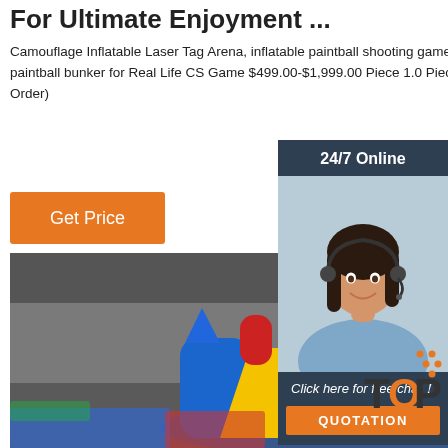For Ultimate Enjoyment ...
Camouflage Inflatable Laser Tag Arena, inflatable paintball shooting games wall, paintball bunker for Real Life CS Game $499.00-$1,999.00 Piece 1.0 Pieces (Min. Order)
Get Price
[Figure (photo): 24/7 Online chat widget with a female customer service agent wearing a headset, smiling. Includes 'Click here for free chat!' text and an orange QUOTATION button.]
[Figure (photo): Colorful inflatable bounce house/slide structure with blue, red, and yellow colors, photographed inside a large warehouse facility.]
[Figure (logo): TOP badge/logo with orange dots and bold text 'TOP']